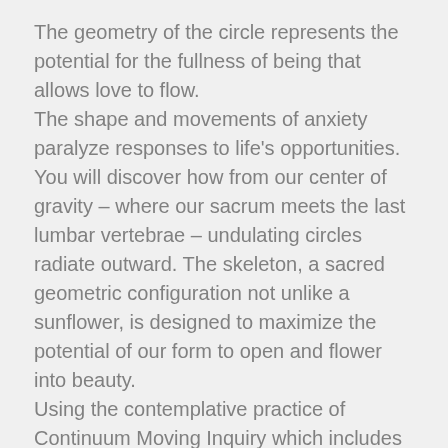The geometry of the circle represents the potential for the fullness of being that allows love to flow. The shape and movements of anxiety paralyze responses to life's opportunities. You will discover how from our center of gravity – where our sacrum meets the last lumbar vertebrae – undulating circles radiate outward. The skeleton, a sacred geometric configuration not unlike a sunflower, is designed to maximize the potential of our form to open and flower into beauty. Using the contemplative practice of Continuum Moving Inquiry which includes the use of sound, breath and micromovements this class will offer ways to engage and